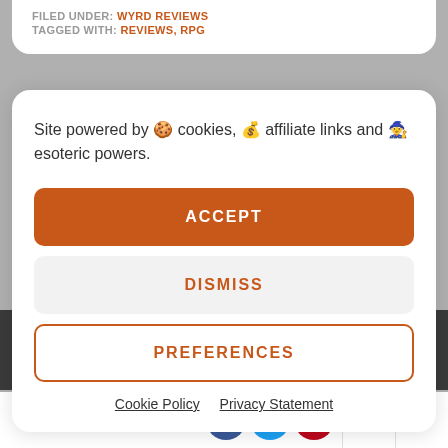FILED UNDER: WYRD REVIEWS
TAGGED WITH: REVIEWS, RPG
Site powered by 🍪 cookies, 💰 affiliate links and 🧙 esoteric powers.
ACCEPT
DISMISS
PREFERENCES
Cookie Policy   Privacy Statement